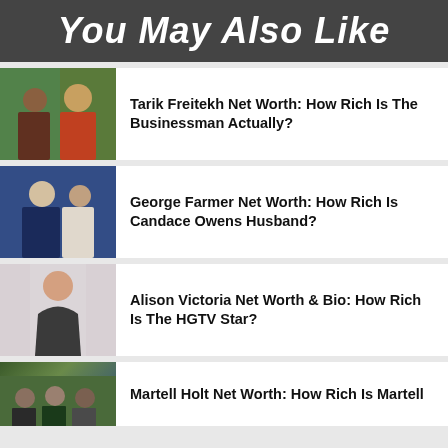You May Also Like
Tarik Freitekh Net Worth: How Rich Is The Businessman Actually?
George Farmer Net Worth: How Rich Is Candace Owens Husband?
Alison Victoria Net Worth & Bio: How Rich Is The HGTV Star?
Martell Holt Net Worth: How Rich Is Martell